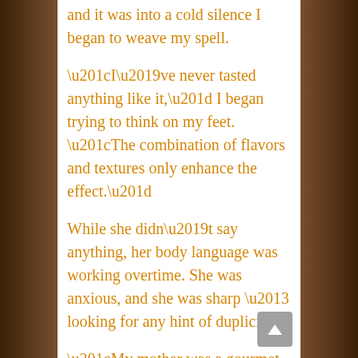and it was into a cold silence I began to weave my spell.

“I’ve never tasted anything like it,” I began trying to think on my feet. “The combination of flavors and textures only enhance the effect.”

While she didn’t say anything, her body language was working overtime. She was anxious, and she was sharp – looking for any hint of duplicity.

“My mother was a gourmet chef and she never made anything that tasted like this,” I added, hoping she wouldn’t catch on to